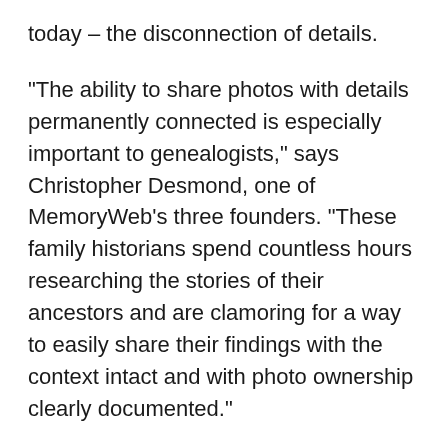today – the disconnection of details.
“The ability to share photos with details permanently connected is especially important to genealogists,” says Christopher Desmond, one of MemoryWeb’s three founders. “These family historians spend countless hours researching the stories of their ancestors and are clamoring for a way to easily share their findings with the context intact and with photo ownership clearly documented.”
Even though the company takes the unusual step of allowing users to export photos with all their tags embedded within the file metadata, the founders realized that the details can come “unglued” when the image is uploaded/shared with platforms such as Facebook. More often than not, social media and other sharing platforms will